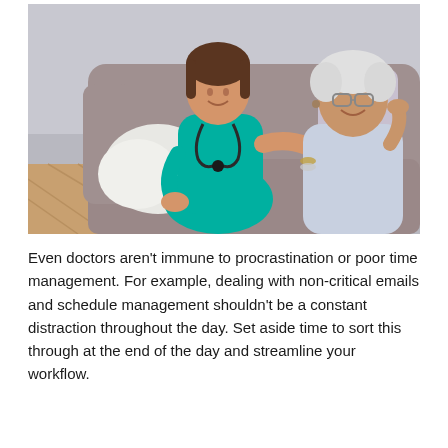[Figure (photo): A young female nurse in teal scrubs with a stethoscope sits on a sofa smiling at an elderly woman with white hair and glasses, placing a hand on her shoulder in a caring gesture. The setting appears to be a home environment with a grey couch and white cushion.]
Even doctors aren't immune to procrastination or poor time management. For example, dealing with non-critical emails and schedule management shouldn't be a constant distraction throughout the day. Set aside time to sort this through at the end of the day and streamline your workflow.